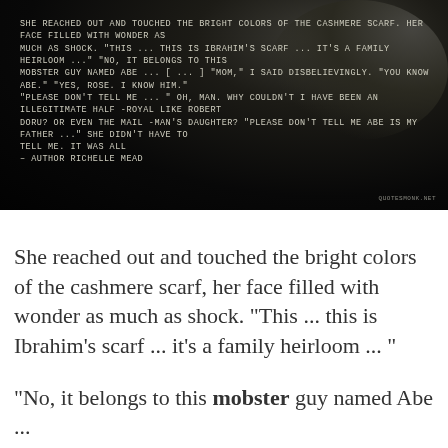[Figure (illustration): Dark moody background image with a quote overlaid in uppercase monospace white/cream text, featuring a blurred dark object in upper right. Quote text from Richelle Mead overlaid on top.]
She reached out and touched the bright colors of the cashmere scarf, her face filled with wonder as much as shock. "This ... this is Ibrahim's scarf ... it's a family heirloom ... " "No, it belongs to this mobster guy named Abe ... [ ... ] "Mom," I said disbelievingly. "You know Abe." "Yes, Rose. I know him." "Please don't tell me ... "